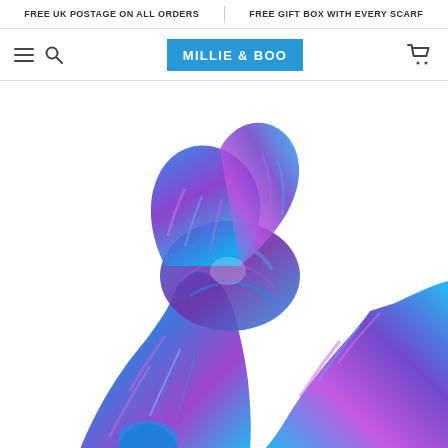FREE UK POSTAGE ON ALL ORDERS | FREE GIFT BOX WITH EVERY SCARF
[Figure (logo): Millie & Boo brand logo in blue rectangle with white border and white text]
[Figure (photo): A blue and purple silk scarf draped and bunched against a white background, showing flowing fabric with vibrant tie-dye pattern in electric blue and magenta/purple tones]